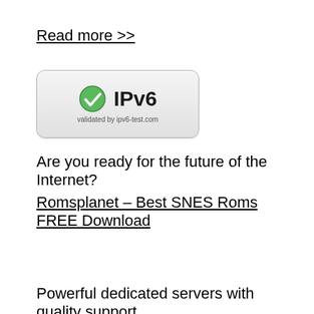Read more >>
[Figure (logo): IPv6 validated badge with green checkmark and text 'validated by ipv6-test.com']
Are you ready for the future of the Internet?
Romsplanet – Best SNES Roms FREE Download
Powerful dedicated servers with quality support.